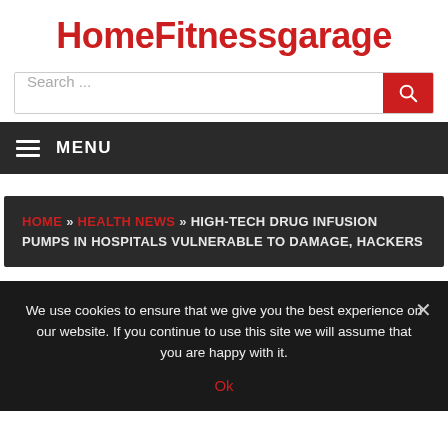HomeFitnessgarage
Search ...
MENU
HOME » HEALTH NEWS » HIGH-TECH DRUG INFUSION PUMPS IN HOSPITALS VULNERABLE TO DAMAGE, HACKERS
We use cookies to ensure that we give you the best experience on our website. If you continue to use this site we will assume that you are happy with it. Ok